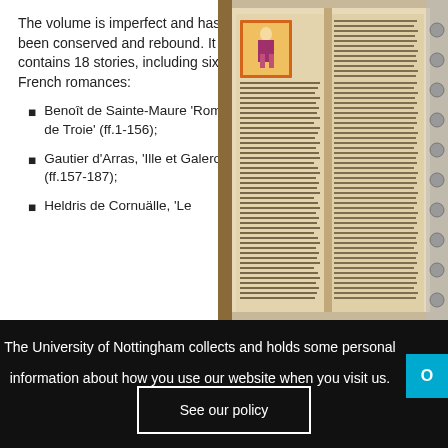The volume is imperfect and has been conserved and rebound. It contains 18 stories, including six French romances:
Benoît de Sainte-Maure 'Roman de Troie' (ff.1-156);
Gautier d'Arras, 'Ille et Galeron' (ff.157-187);
Heldris de Cornuälle, 'Le
[Figure (photo): A medieval illuminated manuscript page open to display columns of Old French text in brown ink, with a decorated red-bordered miniature illustration in the upper left showing a seated figure. The manuscript has aged parchment pages.]
The University of Nottingham collects and holds some personal information about how you use our website when you visit us.
See our policy